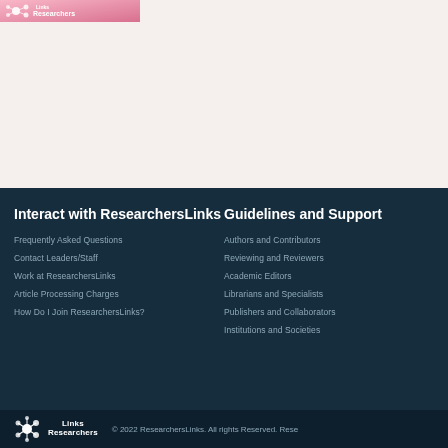[Figure (logo): ResearchersLinks banner logo at top left with pink gradient background]
Interact with ResearchersLinks
Frequently Asked Questions
Contact Leaders/Staff
Work at ResearchersLinks
Article Processing Charges
How Do I Join ResearchersLinks?
Guidelines and Support
Authors and Contributors
Reviewing and Reviewers
Academic Editors
Librarians and Specialists
Publishers and Collaborators
Institutions and Societies
© 2022 ResearchersLinks. All rights Reserved. Rese…